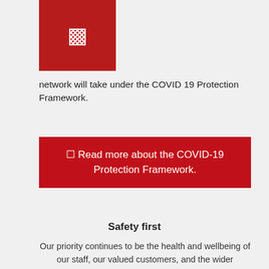[Figure (other): Red box with a small icon/symbol in white]
network will take under the COVID 19 Protection Framework.
🔗 Read more about the COVID-19 Protection Framework.
Safety first
Our priority continues to be the health and wellbeing of our staff, our valued customers, and the wider community. We'll continue to provide world-class service to our customers, while upholding the Government guidelines to keep you safe.  Here are the steps we will be taking to operate safely:
- Stricter cleaning and sanitation standards inside the dealerships and vehicles.
- Record keeping/QR codes provided for anyone visiting